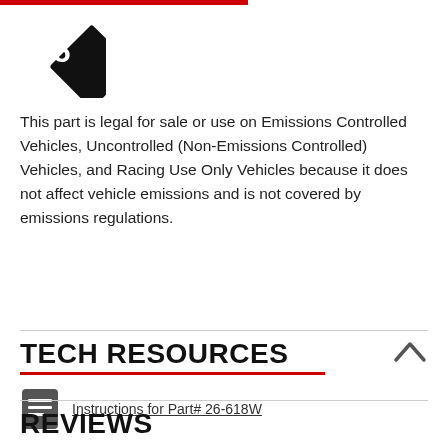[Figure (other): Red horizontal bar at top of page]
[Figure (other): Black diamond shape with white number 5 inside]
This part is legal for sale or use on Emissions Controlled Vehicles, Uncontrolled (Non-Emissions Controlled) Vehicles, and Racing Use Only Vehicles because it does not affect vehicle emissions and is not covered by emissions regulations.
TECH RESOURCES
Instructions for Part# 26-618W
REVIEWS